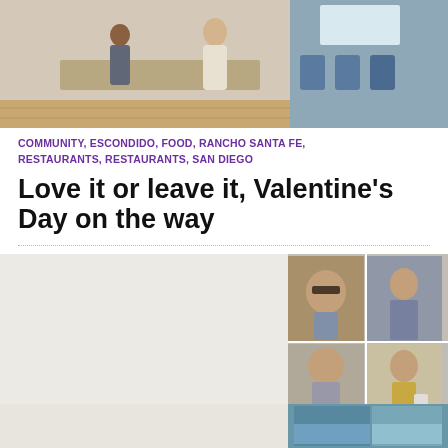[Figure (photo): Photo of a restaurant interior with people sitting and standing at a counter]
COMMUNITY, ESCONDIDO, FOOD, RANCHO SANTA FE, RESTAURANTS, RESTAURANTS, SAN DIEGO
Love it or leave it, Valentine’s Day on the way
[Figure (photo): Collage of surveillance or news photos of a woman in different outfits and settings]
COURTS/LAW, FIRE, POLICE, POLICE/FIRE, RANCHO SANTA FE
People Behaving Badly: Mid-Winter Edition
[Figure (photo): Partial photo strip at bottom of page, appears to show outdoor or water scene in blue tones]